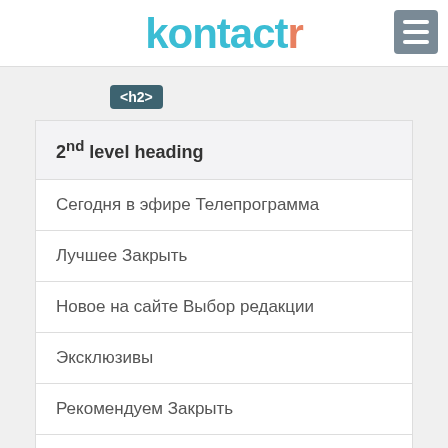kontactr
h2
2nd level heading
Сегодня в эфире Телепрограмма
Лучшее Закрыть
Новое на сайте Выбор редакции
Эксклюзивы
Рекомендуем Закрыть
SEE MORE
Alt attributes